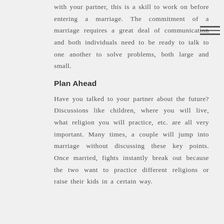with your partner, this is a skill to work on before entering a marriage. The commitment of a marriage requires a great deal of communication and both individuals need to be ready to talk to one another to solve problems, both large and small.
Plan Ahead
Have you talked to your partner about the future? Discussions like children, where you will live, what religion you will practice, etc. are all very important. Many times, a couple will jump into marriage without discussing these key points. Once married, fights instantly break out because the two want to practice different religions or raise their kids in a certain way.